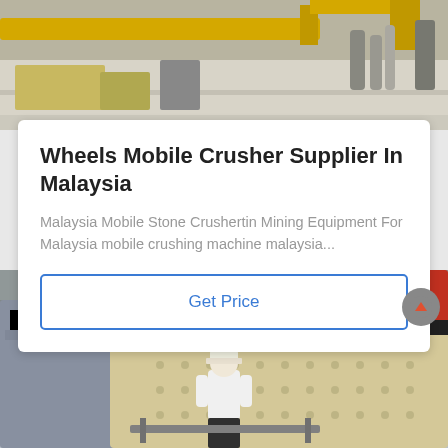[Figure (photo): Industrial machinery/crusher equipment in a warehouse setting, top portion showing yellow crane arm and pipes on gray floor]
Wheels Mobile Crusher Supplier In Malaysia
Malaysia Mobile Stone Crushertin Mining Equipment For Malaysia mobile crushing machine malaysia...
Get Price
[Figure (photo): Industrial crusher machine at a facility, with a man in white shirt and hard hat standing in front of large beige/cream colored crushing equipment. Red and yellow topped equipment visible in background inside a large hangar/warehouse.]